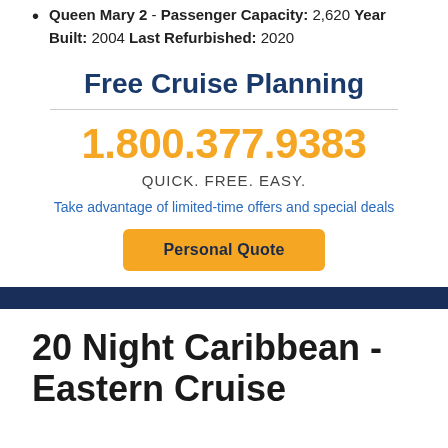Queen Mary 2 - Passenger Capacity: 2,620 Year Built: 2004 Last Refurbished: 2020
Free Cruise Planning
1.800.377.9383
QUICK. FREE. EASY.
Take advantage of limited-time offers and special deals
Personal Quote
20 Night Caribbean - Eastern Cruise